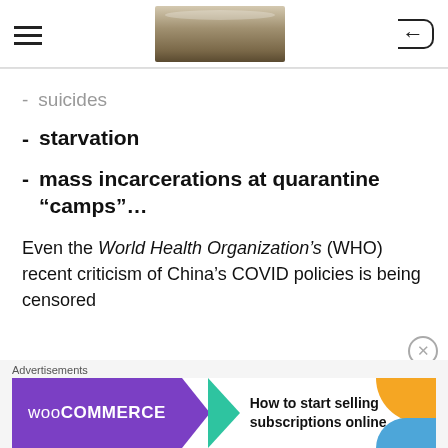[Figure (screenshot): Website page header with hamburger menu icon on left, a photo of what appears to be a bag of white powder in the center, and a back arrow icon on the right]
- suicides
- starvation
- mass incarcerations at quarantine “camps”…
Even the World Health Organization’s (WHO) recent criticism of China’s COVID policies is being censored
[Figure (screenshot): Advertisement banner: WooCommerce ad with text 'How to start selling subscriptions online']